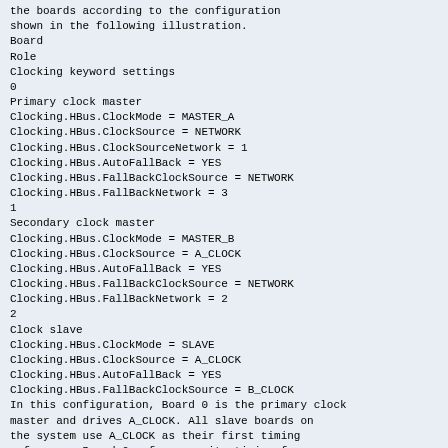the boards according to the configuration shown in the following illustration.
Board
Role
Clocking keyword settings
0
Primary clock master
Clocking.HBus.ClockMode = MASTER_A
Clocking.HBus.ClockSource = NETWORK
Clocking.HBus.ClockSourceNetwork = 1
Clocking.HBus.AutoFallBack = YES
Clocking.HBus.FallBackClockSource = NETWORK
Clocking.HBus.FallBackNetwork = 3
1
Secondary clock master
Clocking.HBus.ClockMode = MASTER_B
Clocking.HBus.ClockSource = A_CLOCK
Clocking.HBus.AutoFallBack = YES
Clocking.HBus.FallBackClockSource = NETWORK
Clocking.HBus.FallBackNetwork = 2
2
Clock slave
Clocking.HBus.ClockMode = SLAVE
Clocking.HBus.ClockSource = A_CLOCK
Clocking.HBus.AutoFallBack = YES
Clocking.HBus.FallBackClockSource = B_CLOCK
In this configuration, Board 0 is the primary clock master and drives A_CLOCK. All slave boards on the system use A_CLOCK as their first timing reference. Board 0 references its timing from a network timing signal received on its own trunk 1. Board 0 also uses the network timing signal from its own trunk 3 as its clock fallback source.